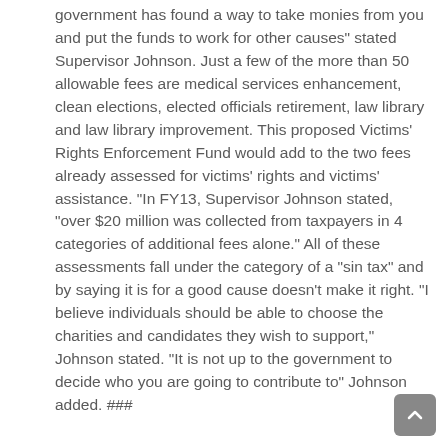government has found a way to take monies from you and put the funds to work for other causes" stated Supervisor Johnson. Just a few of the more than 50 allowable fees are medical services enhancement, clean elections, elected officials retirement, law library and law library improvement. This proposed Victims' Rights Enforcement Fund would add to the two fees already assessed for victims' rights and victims' assistance. “In FY13, Supervisor Johnson stated, “over $20 million was collected from taxpayers in 4 categories of additional fees alone.” All of these assessments fall under the category of a “sin tax” and by saying it is for a good cause doesn’t make it right. “I believe individuals should be able to choose the charities and candidates they wish to support,” Johnson stated. “It is not up to the government to decide who you are going to contribute to” Johnson added. ###